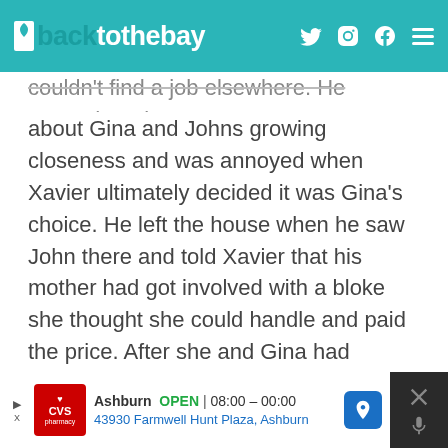backtothebay
couldn't find a job elsewhere. He warned Xavier about Gina and Johns growing closeness and was annoyed when Xavier ultimately decided it was Gina's choice. He left the house when he saw John there and told Xavier that his mother had got involved with a bloke she thought she could handle and paid the price. After she and Gina had spoken about his lack of qualifications, he went to see her at school and asked to enrol but she told him to think about it first.
Ashburn OPEN | 08:00 – 00:00 43930 Farmwell Hunt Plaza, Ashburn